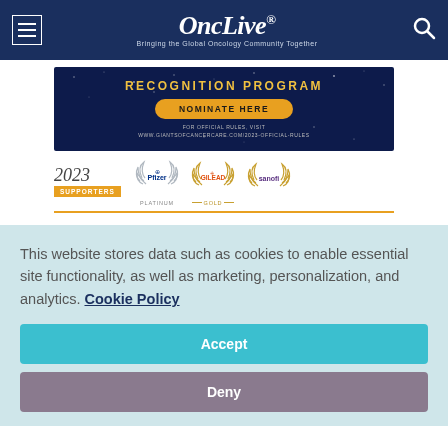OncLive® — Bringing the Global Oncology Community Together
[Figure (illustration): Recognition Program banner with 'NOMINATE HERE' button on dark blue starry background, with gold rule text for official rules URL www.giantsofcancercare.com/2023-official-rules]
[Figure (illustration): 2023 Supporters section showing Pfizer (Platinum), Gilead (Gold), and Sanofi (Gold) sponsor logos with laurel wreath badges]
This website stores data such as cookies to enable essential site functionality, as well as marketing, personalization, and analytics. Cookie Policy
Accept
Deny